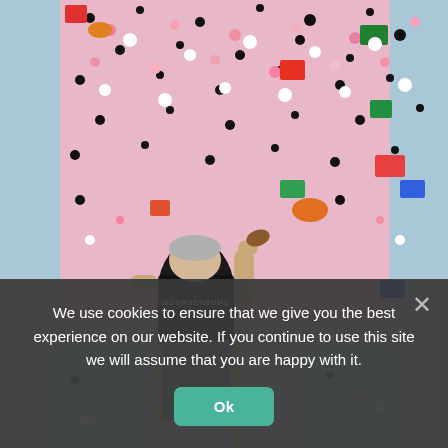[Figure (photo): A person with grey/white hair standing on a wooden ladder, back facing the camera, wearing a black t-shirt reading 'HOORSENBUHS' with a logo, painting or touching a large colorful abstract canvas covered in multicolored dots and splatters on a light blue background.]
We use cookies to ensure that we give you the best experience on our website. If you continue to use this site we will assume that you are happy with it.